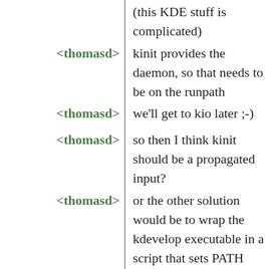(this KDE stuff is complicated)
<thomasd> kinit provides the daemon, so that needs to be on the runpath
<thomasd> we'll get to kio later ;-)
<thomasd> so then I think kinit should be a propagated input?
<thomasd> or the other solution would be to wrap the kdevelop executable in a script that sets PATH (and QT_PLUGIN_PATH)